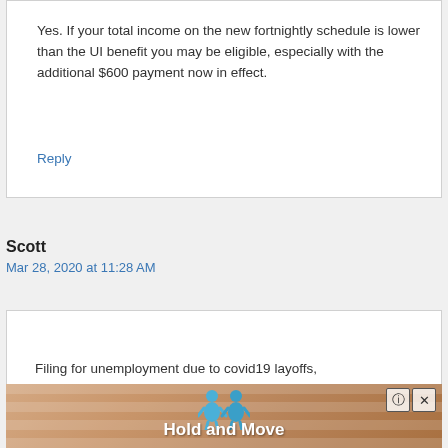Yes. If your total income on the new fortnightly schedule is lower than the UI benefit you may be eligible, especially with the additional $600 payment now in effect.
Reply
Scott
Mar 28, 2020 at 11:28 AM
Filing for unemployment due to covid19 layoffs,
[Figure (other): Advertisement banner showing 'Hold and Move' text with blue cartoon figures and a wood-grain background, with help and close buttons in the top right corner.]